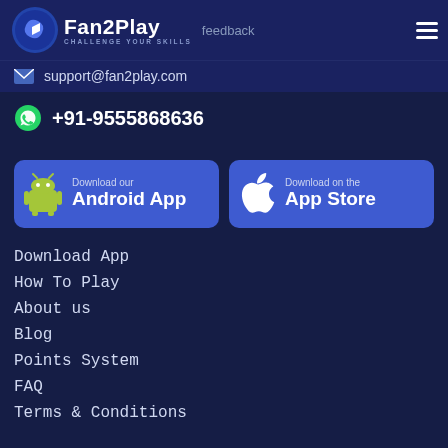Fan2Play CHALLENGE YOUR SKILLS | feedback
support@fan2play.com
+91-9555868636
[Figure (screenshot): Download our Android App button (blue rounded rectangle with Android robot icon)]
[Figure (screenshot): Download on the App Store button (blue rounded rectangle with Apple logo icon)]
Download App
How To Play
About us
Blog
Points System
FAQ
Terms & Conditions